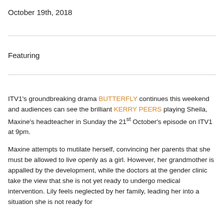October 19th, 2018
Featuring
ITV1's groundbreaking drama BUTTERFLY continues this weekend and audiences can see the brilliant KERRY PEERS playing Sheila, Maxine's headteacher in Sunday the 21st October's episode on ITV1 at 9pm.
Maxine attempts to mutilate herself, convincing her parents that she must be allowed to live openly as a girl. However, her grandmother is appalled by the development, while the doctors at the gender clinic take the view that she is not yet ready to undergo medical intervention. Lily feels neglected by her family, leading her into a situation she is not ready for